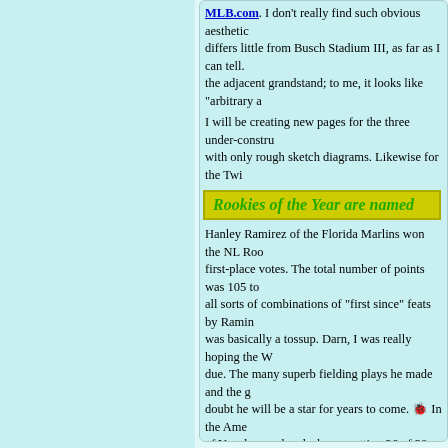MLB.com. I don't really find such obvious aesthetic ... differs little from Busch Stadium III, as far as I can tell. ... the adjacent grandstand; to me, it looks like "arbitrary a...
I will be creating new pages for the three under-constru... with only rough sketch diagrams. Likewise for the Twi...
Rookies of the Year are named
Hanley Ramirez of the Florida Marlins won the NL Roo... first-place votes. The total number of points was 105 to... all sorts of combinations of "first since" feats by Ramin... was basically a tossup. Darn, I was really hoping the W... due. The many superb fielding plays he made and the g... doubt he will be a star for years to come. In the Ame... of Year honors hands down, getting 26 of 28 first-place...
Trades and non-trades
The Yankees traded Jaret Wright to Baltimore for rooki... $7 million salary contract obligation. See MLB.com. F... compared to other Yankee pitchers. It must be one of th...
The Cubs reached terms with two of their most importa... Kerry Wood (one year). The Chicago franchise is doing... react to the disappointments of recent years by cutting c... are going to keep striving for a pennant, hoping that inj...
November 10, 2006 [LINK / comment]
Gay civil unions in Mexico City?
The Mexico City assembly has passed by a vote of 43-1...